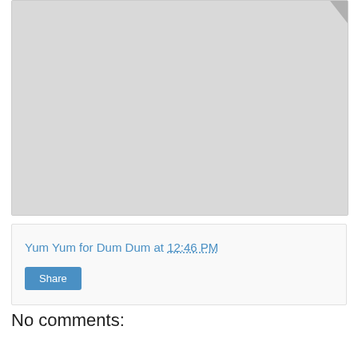[Figure (photo): Large gray placeholder image area with a rounded corner tab at top right]
Yum Yum for Dum Dum at 12:46 PM
Share
No comments: